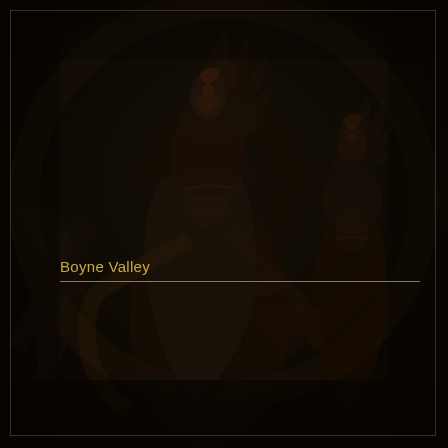[Figure (illustration): Dark, moody background image showing ancient Asian/Buddhist mural or fresco figures — two ornately dressed deity or court figures with elaborate headdresses on a dark brown textured background, resembling cave or temple wall paintings.]
Boyne Valley